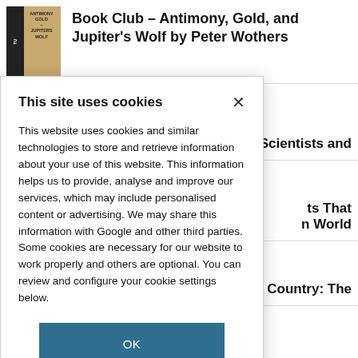[Figure (screenshot): Book cover thumbnail: Antimony, Gold, and Jupiter's Wolf with dark spine]
Book Club – Antimony, Gold, and Jupiter's Wolf by Peter Wothers
e: Scientists and
ts That
n World
Country: The
This site uses cookies
This website uses cookies and similar technologies to store and retrieve information about your use of this website. This information helps us to provide, analyse and improve our services, which may include personalised content or advertising. We may share this information with Google and other third parties. Some cookies are necessary for our website to work properly and others are optional. You can review and configure your cookie settings below.
OK
COOKIE SETTINGS